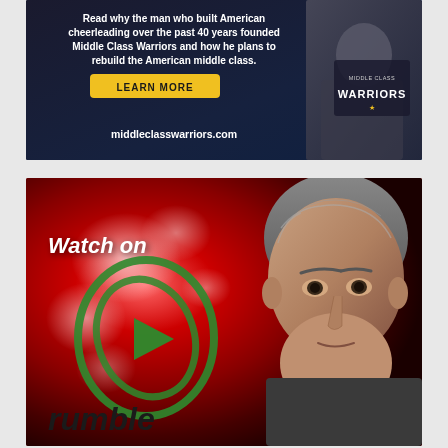[Figure (photo): Advertisement banner for Middle Class Warriors. Dark background with white bold text reading 'Read why the man who built American cheerleading over the past 40 years founded Middle Class Warriors and how he plans to rebuild the American middle class.' with a yellow LEARN MORE button and URL middleclasswarriors.com. MCW logo visible on right side.]
[Figure (photo): Rumble video platform advertisement featuring a man's face (Steve Bannon) on right side, red and white abstract background, Rumble logo (green circular play button icon), text 'Watch on' above logo, and 'rumble' text in dark italic font at bottom.]